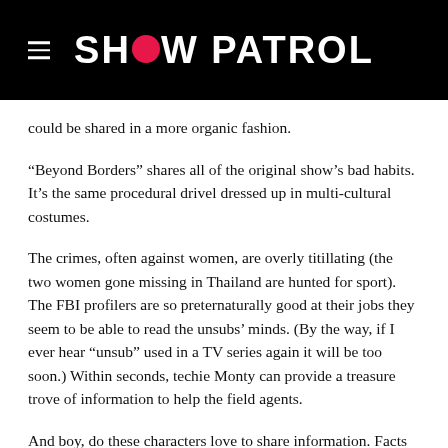SHOW PATROL
could be shared in a more organic fashion.
“Beyond Borders” shares all of the original show’s bad habits. It’s the same procedural drivel dressed up in multi-cultural costumes.
The crimes, often against women, are overly titillating (the two women gone missing in Thailand are hunted for sport). The FBI profilers are so preternaturally good at their jobs they seem to be able to read the unsubs’ minds. (By the way, if I ever hear “unsub” used in a TV series again it will be too soon.) Within seconds, techie Monty can provide a treasure trove of information to help the field agents.
And boy, do these characters love to share information. Facts and theories are spouted via an awkward expository style that had me yelling at the TV, “Stop talking and do something!”
When the team finally does get into the field, they’re doing so on a backlot in Los Angeles. You’d think that with an internationally set